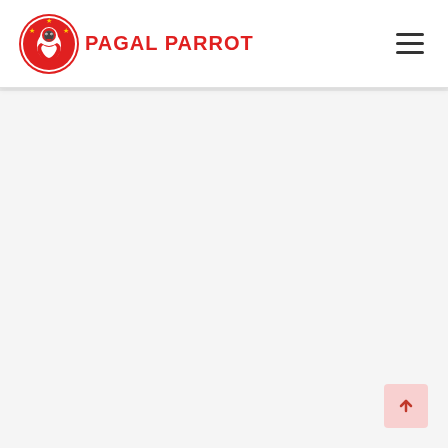PAGAL PARROT
[Figure (logo): Pagal Parrot logo with red circle icon featuring a parrot and stars, followed by bold red text 'PAGAL PARROT']
[Figure (illustration): Hamburger menu icon (three horizontal lines) in top right corner of header]
[Figure (other): Scroll-to-top button in bottom right corner, pink/light red background with upward arrow icon]